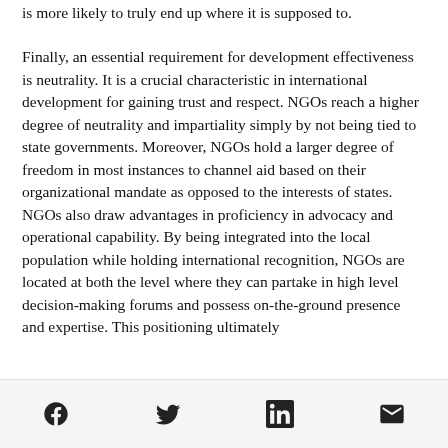is more likely to truly end up where it is supposed to.
Finally, an essential requirement for development effectiveness is neutrality. It is a crucial characteristic in international development for gaining trust and respect. NGOs reach a higher degree of neutrality and impartiality simply by not being tied to state governments. Moreover, NGOs hold a larger degree of freedom in most instances to channel aid based on their organizational mandate as opposed to the interests of states. NGOs also draw advantages in proficiency in advocacy and operational capability. By being integrated into the local population while holding international recognition, NGOs are located at both the level where they can partake in high level decision-making forums and possess on-the-ground presence and expertise. This positioning ultimately
[Facebook] [Twitter] [LinkedIn] [Email]